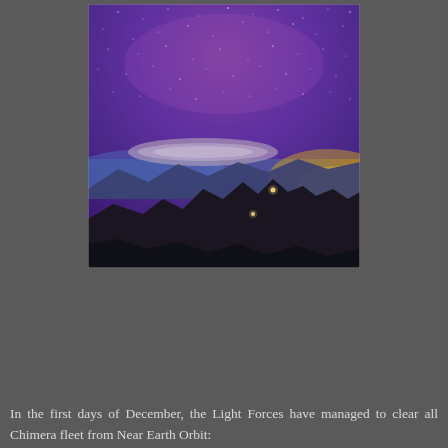[Figure (photo): Night sky photograph showing a purple and violet starry sky above a silhouetted mountain range. A lenticular cloud formation is visible near the horizon, with a golden-yellow twilight glow on the right side. Small lights are visible on the mountain ridge in the foreground.]
In the first days of December, the Light Forces have managed to clear all Chimera fleet from Near Earth Orbit: